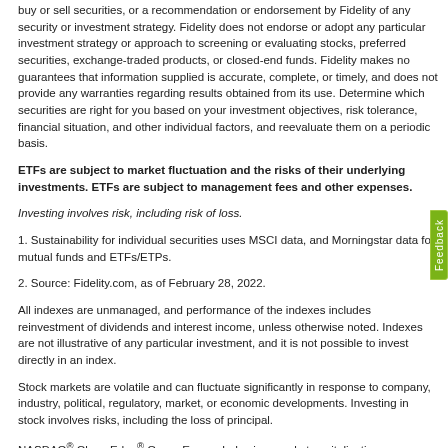buy or sell securities, or a recommendation or endorsement by Fidelity of any security or investment strategy. Fidelity does not endorse or adopt any particular investment strategy or approach to screening or evaluating stocks, preferred securities, exchange-traded products, or closed-end funds. Fidelity makes no guarantees that information supplied is accurate, complete, or timely, and does not provide any warranties regarding results obtained from its use. Determine which securities are right for you based on your investment objectives, risk tolerance, financial situation, and other individual factors, and reevaluate them on a periodic basis.
ETFs are subject to market fluctuation and the risks of their underlying investments. ETFs are subject to management fees and other expenses.
Investing involves risk, including risk of loss.
1. Sustainability for individual securities uses MSCI data, and Morningstar data for mutual funds and ETFs/ETPs.
2. Source: Fidelity.com, as of February 28, 2022.
All indexes are unmanaged, and performance of the indexes includes reinvestment of dividends and interest income, unless otherwise noted. Indexes are not illustrative of any particular investment, and it is not possible to invest directly in an index.
Stock markets are volatile and can fluctuate significantly in response to company, industry, political, regulatory, market, or economic developments. Investing in stock involves risks, including the loss of principal.
NASDAQ® Clean Edge® Green Energy Index is a market capitalization